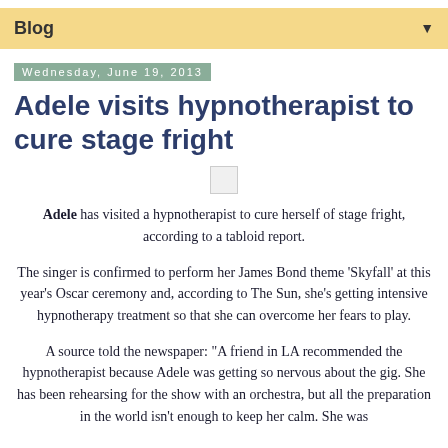Blog ▼
Wednesday, June 19, 2013
Adele visits hypnotherapist to cure stage fright
Adele has visited a hypnotherapist to cure herself of stage fright, according to a tabloid report.
The singer is confirmed to perform her James Bond theme 'Skyfall' at this year's Oscar ceremony and, according to The Sun, she's getting intensive hypnotherapy treatment so that she can overcome her fears to play.
A source told the newspaper: "A friend in LA recommended the hypnotherapist because Adele was getting so nervous about the gig. She has been rehearsing for the show with an orchestra, but all the preparation in the world isn't enough to keep her calm. She was